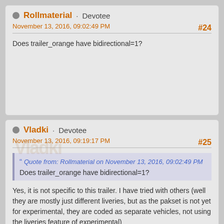Rollmaterial · Devotee
November 13, 2016, 09:02:49 PM
#24
Does trailer_orange have bidirectional=1?
Vladki · Devotee
November 13, 2016, 09:19:17 PM
#25
Quote from: Rollmaterial on November 13, 2016, 09:02:49 PM
Does trailer_orange have bidirectional=1?
Yes, it is not specific to this trailer. I have tried with others (well they are mostly just different liveries, but as the pakset is not yet for experimental, they are coded as separate vehicles, not using the liveries feature of experimental)